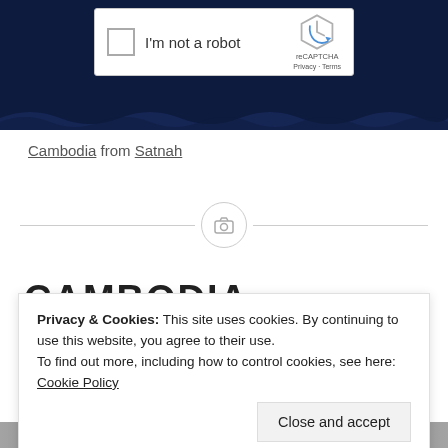[Figure (screenshot): Dark navy blue background with a reCAPTCHA widget showing a checkbox labeled 'I'm not a robot' with the reCAPTCHA logo, Privacy and Terms links on the right.]
Cambodia from Satnah
[Figure (other): Horizontal divider with a camera icon in the center circle]
CAMBODIA
Privacy & Cookies: This site uses cookies. By continuing to use this website, you agree to their use.
To find out more, including how to control cookies, see here: Cookie Policy
Close and accept
[Figure (photo): Bottom strip of a photo, partially visible]